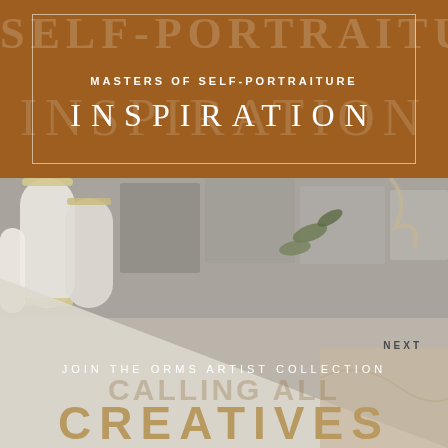[Figure (illustration): Top brown/terracotta panel with a white border rectangle, faint large background text reading 'SELF-PORTRAITURE' and 'INSPIRATION', overlaid with smaller foreground text 'MASTERS OF SELF-PORTRAITURE' and large spaced letters 'INSPIRATION']
MASTERS OF SELF-PORTRAITURE
INSPIRATION
[Figure (photo): Lower panel showing a lifestyle/art photo with cylindrical ceramic objects on the left, stone/concrete tiles and greenery in the upper portion, a diagonal cream-beige overlay in lower-left, and warm marble texture in lower-right. Contains overlay text 'NEXT', 'JOIN THE ORMS ARTIST COLLECTION', background text 'CALLING ALL', and large gold text 'CREATIVES']
NEXT
JOIN THE ORMS ARTIST COLLECTION
CALLING ALL
CREATIVES